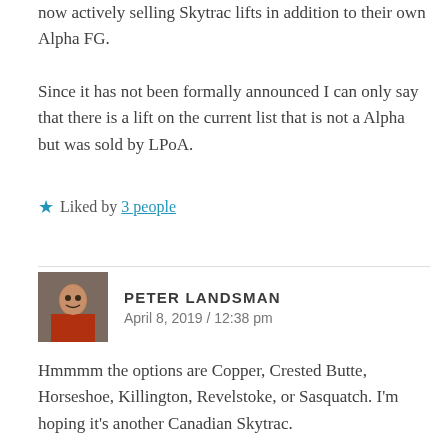now actively selling Skytrac lifts in addition to their own Alpha FG.

Since it has not been formally announced I can only say that there is a lift on the current list that is not a Alpha but was sold by LPoA.
★ Liked by 3 people
PETER LANDSMAN
April 8, 2019 / 12:38 pm
Hmmmm the options are Copper, Crested Butte, Horseshoe, Killington, Revelstoke, or Sasquatch. I'm hoping it's another Canadian Skytrac.